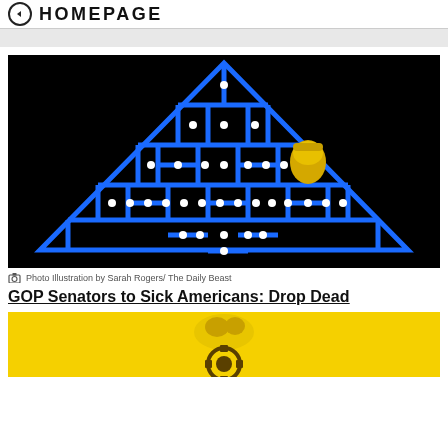HOMEPAGE
[Figure (illustration): Photo illustration of a Pac-Man style blue maze on black background with white dots and a figure resembling Donald Trump navigating it.]
Photo Illustration by Sarah Rogers/ The Daily Beast
GOP Senators to Sick Americans: Drop Dead
[Figure (photo): Partial image showing a yellow background with what appears to be a small animal or figure on top of something, cropped at the bottom.]